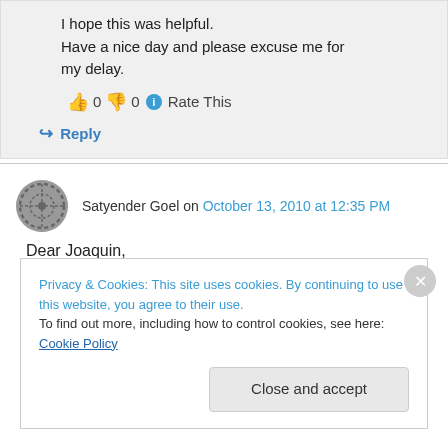I hope this was helpful.
Have a nice day and please excuse me for my delay.
👍 0 👎 0 ℹ Rate This
↪ Reply
Satyender Goel on October 13, 2010 at 12:35 PM
Dear Joaquin,
Privacy & Cookies: This site uses cookies. By continuing to use this website, you agree to their use.
To find out more, including how to control cookies, see here: Cookie Policy
Close and accept